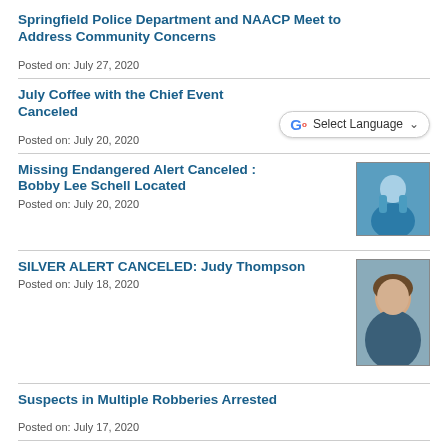Springfield Police Department and NAACP Meet to Address Community Concerns
Posted on: July 27, 2020
July Coffee with the Chief Event Canceled
Posted on: July 20, 2020
Missing Endangered Alert Canceled : Bobby Lee Schell Located
Posted on: July 20, 2020
[Figure (photo): Thumbnail photo of Bobby Lee Schell, an elderly man in a blue shirt]
SILVER ALERT CANCELED: Judy Thompson
Posted on: July 18, 2020
[Figure (photo): Thumbnail mugshot-style photo of Judy Thompson, an older woman with short gray hair]
Suspects in Multiple Robberies Arrested
Posted on: July 17, 2020
Springfield Police Recruits of 72nd Academy Set to Graduate Friday